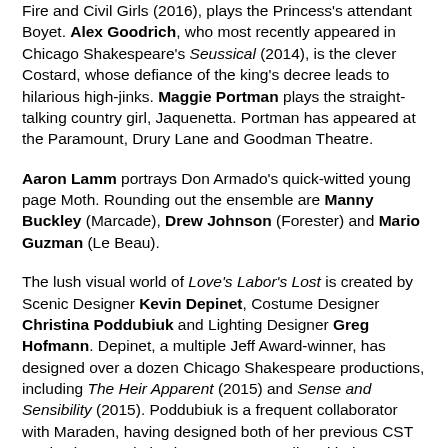Fire and Civil Girls (2016), plays the Princess's attendant Boyet. Alex Goodrich, who most recently appeared in Chicago Shakespeare's Seussical (2014), is the clever Costard, whose defiance of the king's decree leads to hilarious high-jinks. Maggie Portman plays the straight-talking country girl, Jaquenetta. Portman has appeared at the Paramount, Drury Lane and Goodman Theatre.
Aaron Lamm portrays Don Armado's quick-witted young page Moth. Rounding out the ensemble are Manny Buckley (Marcade), Drew Johnson (Forester) and Mario Guzman (Le Beau).
The lush visual world of Love's Labor's Lost is created by Scenic Designer Kevin Depinet, Costume Designer Christina Poddubiuk and Lighting Designer Greg Hofmann. Depinet, a multiple Jeff Award-winner, has designed over a dozen Chicago Shakespeare productions, including The Heir Apparent (2015) and Sense and Sensibility (2015). Poddubiuk is a frequent collaborator with Maraden, having designed both of her previous CST productions, and also boasts many credits with the Stratford and Shaw Festivals. Hofmann previously designed Road Show (2014) and Ride the Cyclone, at CST (2015) and again in its recent off-Broadway run at MCC Theater (2016)—as well as productions at Paramount Theatre and Drury Lane Theatre. Keith Thomas creates original compositions as Composer and Music